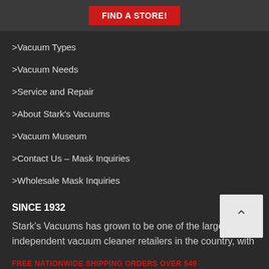FIND A STORE!
>Vacuum Types
>Vacuum Needs
>Service and Repair
>About Stark's Vacuums
>Vacuum Museum
>Contact Us – Mask Inquiries
>Wholesale Mask Inquiries
SINCE 1932
Stark's Vacuums has grown to be one of the largest independent vacuum cleaner retailers in the country, with nine locations and more than 250 vacuums to choos
FREE NATIONWIDE SHIPPING ORDERS OVER $49